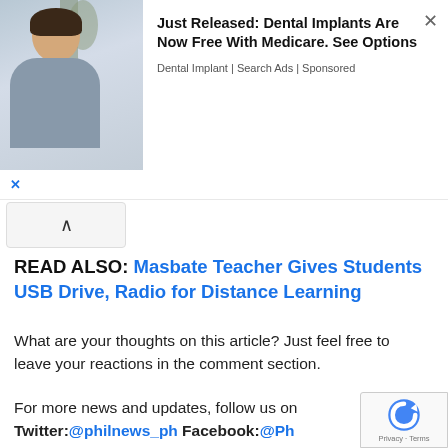[Figure (photo): Advertisement banner: photo of a woman on the left, ad text on the right reading 'Just Released: Dental Implants Are Now Free With Medicare. See Options' with source 'Dental Implant | Search Ads | Sponsored']
READ ALSO: Masbate Teacher Gives Students USB Drive, Radio for Distance Learning
What are your thoughts on this article? Just feel free to leave your reactions in the comment section.
For more news and updates, follow us on Twitter:@philnews_ph Facebook:@Ph s and; YouTube channel Philnews Ph